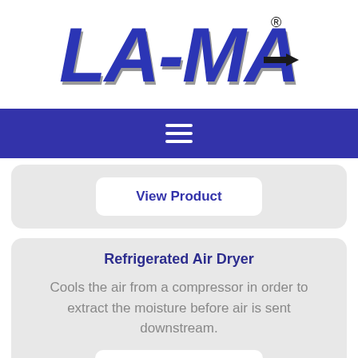[Figure (logo): LA-MAN logo in bold blue italic text with grey outline and a right-pointing arrow, registered trademark symbol]
[Figure (screenshot): Navy blue navigation bar with white hamburger menu icon (three horizontal lines)]
View Product
Refrigerated Air Dryer
Cools the air from a compressor in order to extract the moisture before air is sent downstream.